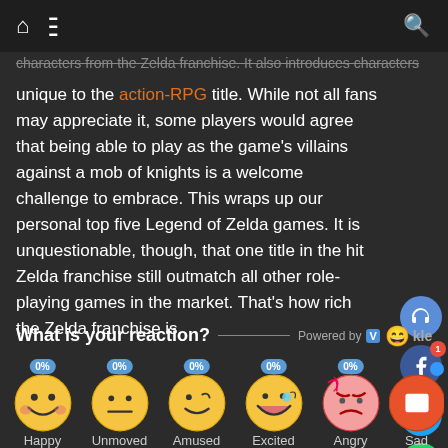Navigation bar with home, menu, and search icons
characters from the Zelda franchise. It also introduces characters unique to the action-RPG title. While not all fans may appreciate it, some players would agree that being able to play as the game's villains against a mob of knights is a welcome challenge to embrace. This wraps up our personal top five Legend of Zelda games. It is unquestionable, though, that one title in the hit Zelda franchise still outmatch all other role-playing games in the market. That's how rich the Zelda franchise is.
What is your reaction?
[Figure (infographic): Emoji reaction widget with five emoji faces labeled Happy (0%), Unmoved (0%), Amused (0%), Excited (0%), Angry (0%) and a partially visible Sad emoji]
[Figure (infographic): Social share buttons: headphones, Facebook (with notification badge 1), Twitter, WhatsApp and an orange chat bubble button]